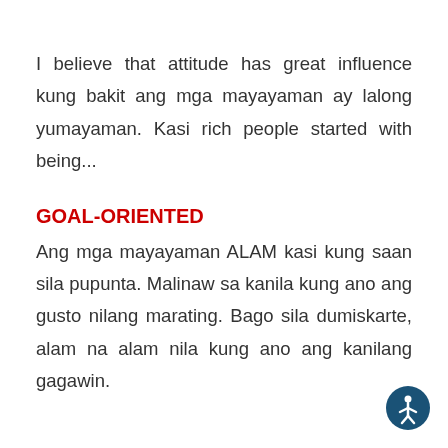I believe that attitude has great influence kung bakit ang mga mayayaman ay lalong yumayaman. Kasi rich people started with being...
GOAL-ORIENTED
Ang mga mayayaman ALAM kasi kung saan sila pupunta. Malinaw sa kanila kung ano ang gusto nilang marating. Bago sila dumiskarte, alam na alam nila kung ano ang kanilang gagawin.